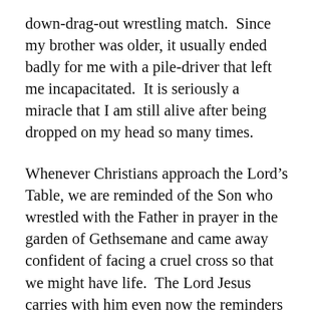down-drag-out wrestling match.  Since my brother was older, it usually ended badly for me with a pile-driver that left me incapacitated.  It is seriously a miracle that I am still alive after being dropped on my head so many times.
Whenever Christians approach the Lord’s Table, we are reminded of the Son who wrestled with the Father in prayer in the garden of Gethsemane and came away confident of facing a cruel cross so that we might have life.  The Lord Jesus carries with him even now the reminders of his suffering – the marks on his hands and his feet from a